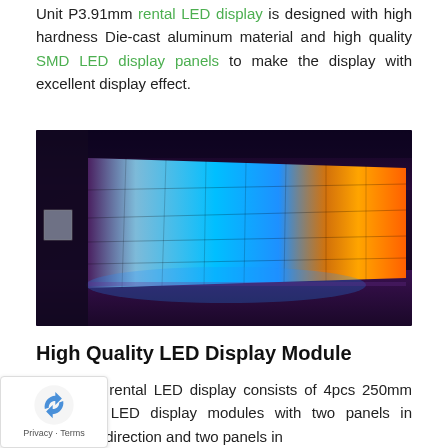Unit P3.91mm rental LED display is designed with high hardness Die-cast aluminum material and high quality SMD LED display panels to make the display with excellent display effect.
[Figure (photo): Large LED video wall display installed in a dark indoor space, showing a repeated image of a woman across many tiled LED panels. The display spans a wide horizontal area and is viewed from an angle.]
High Quality LED Display Module
P3.91 rental LED display consists of 4pcs 250mm P3.91mm LED display modules with two panels in horizontal direction and two panels in